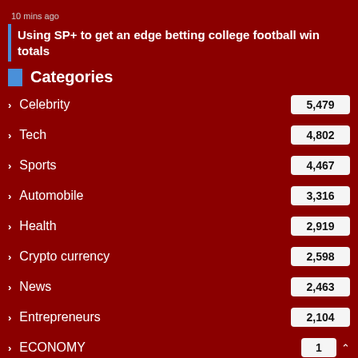10 mins ago
Using SP+ to get an edge betting college football win totals
Categories
Celebrity
Tech
Sports
Automobile
Health
Crypto currency
News
Entrepreneurs
ECONOMY
Finance
Market